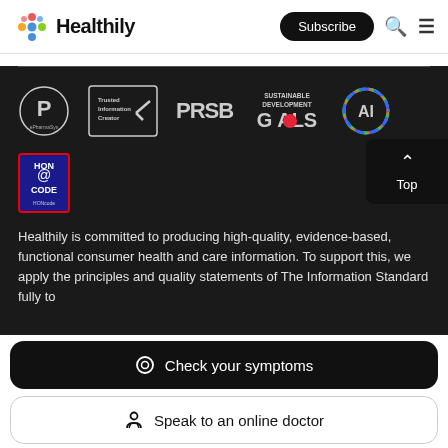Healthily — Subscribe
[Figure (logo): Healthily colorful dot logo with text 'Healthily']
[Figure (infographic): Row of trust/accreditation badges: PharmacyChecker P logo, Trusted Information Creator checkmark, PRSB logo, Sustainable Development Goals logo, AI logo, HON Code badge]
Healthily is committed to producing high-quality, evidence-based, functional consumer health and care information. To support this, we apply the principles and quality statements of The Information Standard fully to
[Figure (screenshot): Check your symptoms button (dark rounded)]
[Figure (screenshot): Speak to an online doctor button (white rounded)]